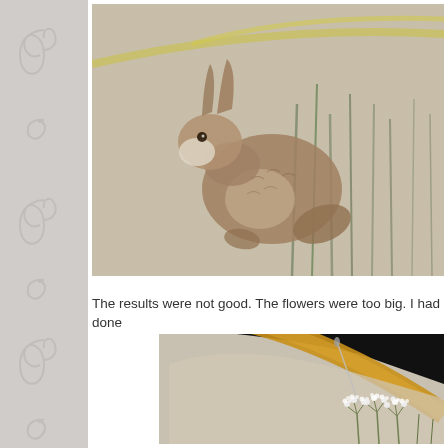[Figure (photo): Close-up photograph of embroidered hare on linen fabric with grass stems stitched in background, framed with white border]
The results were not good. The flowers were too big. I had done
[Figure (photo): Close-up photograph of embroidery hoop with linen fabric showing needle and white flower (cow parsley) stitching in progress, on black background]